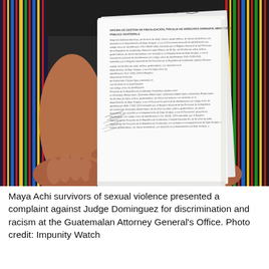[Figure (photo): A person wearing traditional Maya Achi woven clothing holds up a multi-page legal document. The document appears to be a formal complaint letter in Spanish, with text visible including references to 'DERECHOS HUMANOS', 'PORTERIA GUATEMALA', and names of individuals. The person's hands are prominently shown holding the white document pages.]
Maya Achi survivors of sexual violence presented a complaint against Judge Dominguez for discrimination and racism at the Guatemalan Attorney General's Office. Photo credit: Impunity Watch